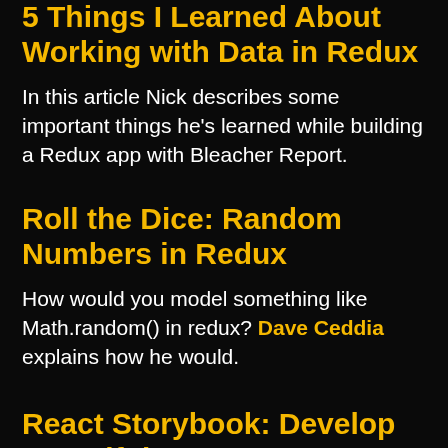5 Things I Learned About Working with Data in Redux
In this article Nick describes some important things he's learned while building a Redux app with Bleacher Report.
Roll the Dice: Random Numbers in Redux
How would you model something like Math.random() in redux? Dave Ceddia explains how he would.
React Storybook: Develop Beautiful